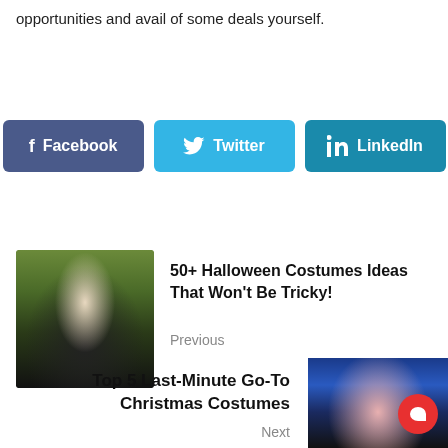opportunities and avail of some deals yourself.
[Figure (other): Social share buttons: Facebook (dark blue), Twitter (light blue), LinkedIn (teal)]
[Figure (photo): Halloween costumes photo showing a man in a top hat and white shirt with a woman in black beside him, with a Halloween banner in the background]
50+ Halloween Costumes Ideas That Won't Be Tricky!
Previous
Top 5 Last-Minute Go-To Christmas Costumes
Next
[Figure (photo): Christmas costume photo showing a person in a festive outfit against a blue starry background]